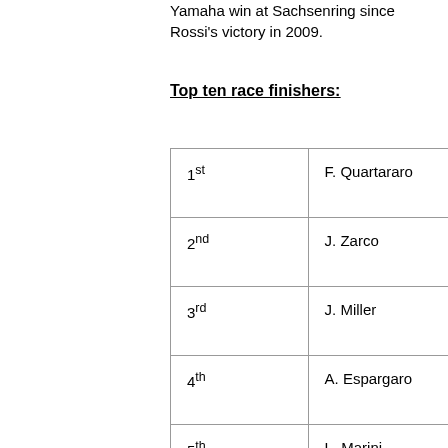Yamaha win at Sachsenring since Rossi's victory in 2009.
Top ten race finishers:
| 1st | F. Quartararo |
| 2nd | J. Zarco |
| 3rd | J. Miller |
| 4th | A. Espargaro |
| 5th | L. Marini |
| 6th | J. Martin |